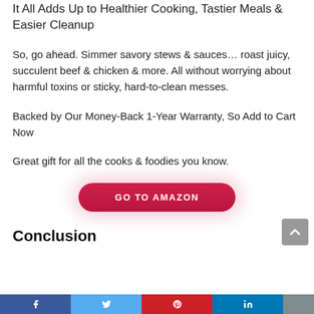It All Adds Up to Healthier Cooking, Tastier Meals & Easier Cleanup
So, go ahead. Simmer savory stews & sauces… roast juicy, succulent beef & chicken & more. All without worrying about harmful toxins or sticky, hard-to-clean messes.
Backed by Our Money-Back 1-Year Warranty, So Add to Cart Now
Great gift for all the cooks & foodies you know.
[Figure (other): GO TO AMAZON button - red pill-shaped button with white bold uppercase text]
Conclusion
[Figure (other): Footer social media bar with Facebook, Twitter, Pinterest, LinkedIn icons]